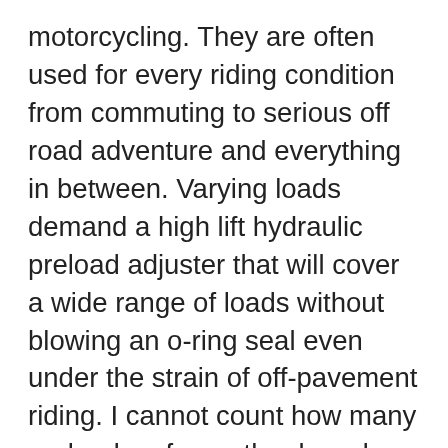motorcycling. They are often used for every riding condition from commuting to serious off road adventure and everything in between. Varying loads demand a high lift hydraulic preload adjuster that will cover a wide range of loads without blowing an o-ring seal even under the strain of off-pavement riding. I cannot count how many preloaders from other brands we have resealed in our shop over the years. In the old days we would often tell our customers to turn the preloader off as much as possible to prolong its life. The internal pressures can be too high when used in adventure bike riding or heavily loaded touring. TracTive solved this problem by developing the first high lift, low pressure, heavy duty hydraulic preloader. You can load it up, crank it up and leave it up. It can handle it. By design it has the ultra-high lift, high